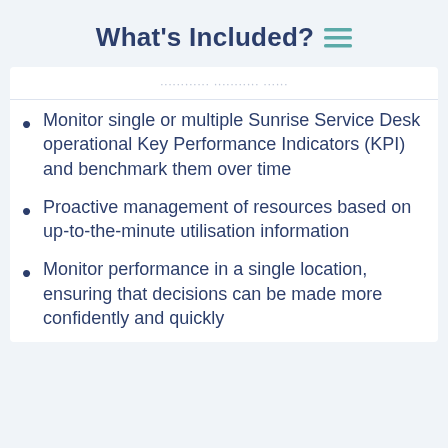What's Included?
Information Performs Boards
Monitor single or multiple Sunrise Service Desk operational Key Performance Indicators (KPI) and benchmark them over time
Proactive management of resources based on up-to-the-minute utilisation information
Monitor performance in a single location, ensuring that decisions can be made more confidently and quickly